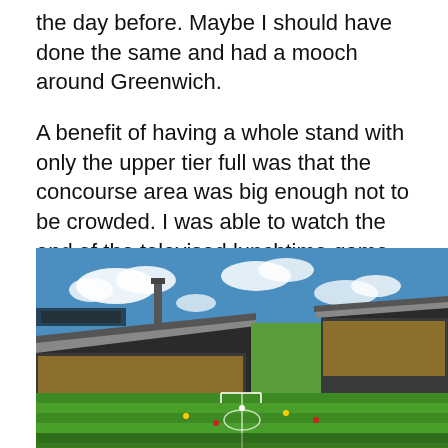the day before. Maybe I should have done the same and had a mooch around Greenwich.
A benefit of having a whole stand with only the upper tier full was that the concourse area was big enough not to be crowded. I was able to watch the end of the televised lunchtime game without being jostled or having beer thrown over me. Stuff you think that you'd be able to take for granted.
[Figure (photo): Wide-angle exterior/interior photo of a football stadium showing two covered stands, a green pitch with players, blue sky with white clouds, and a tall chimney/tower visible in the background on the left side.]